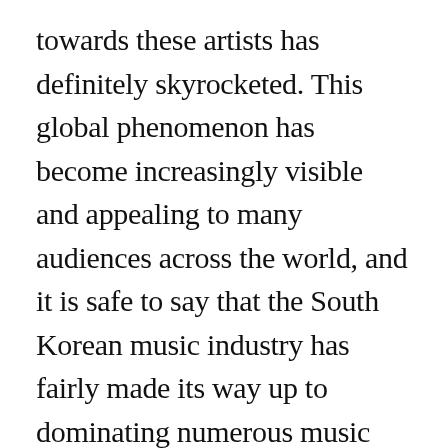towards these artists has definitely skyrocketed. This global phenomenon has become increasingly visible and appealing to many audiences across the world, and it is safe to say that the South Korean music industry has fairly made its way up to dominating numerous music charts, as well as surpassing the most successful artists in our generation today. There has obviously been a large controversy surrounding the growing popularity of these exciting and diverse K-pop artists, and people often wonder what exactly is causing such a craze over this 5 billion dollar industry. Maybe its the music videos and performances, or